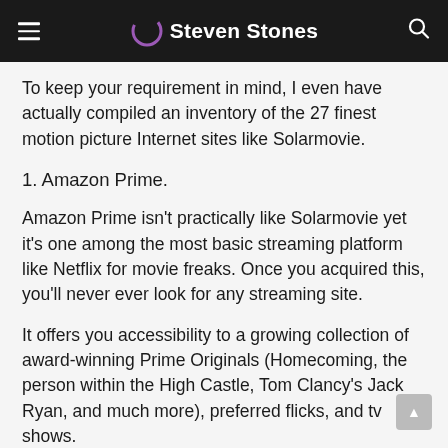Steven Stones
To keep your requirement in mind, I even have actually compiled an inventory of the 27 finest motion picture Internet sites like Solarmovie.
1. Amazon Prime.
Amazon Prime isn't practically like Solarmovie yet it's one among the most basic streaming platform like Netflix for movie freaks. Once you acquired this, you'll never ever look for any streaming site.
It offers you accessibility to a growing collection of award-winning Prime Originals (Homecoming, the person within the High Castle, Tom Clancy's Jack Ryan, and much more), preferred flicks, and tv shows.